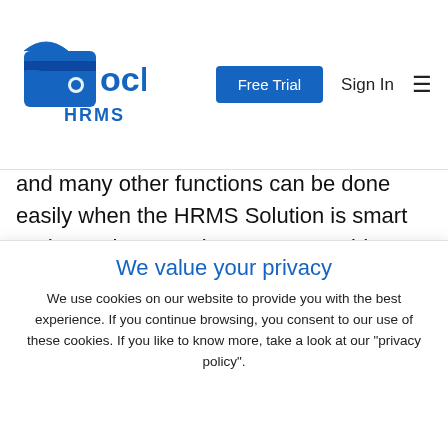[Figure (logo): Pocket HRMS logo with wallet/pocket icon and blue text]
and many other functions can be done easily when the HRMS Solution is smart and seamless. Pocket HRMS provides us with a very useful configurable feature for loan Stop Payment. If an employee has been added into the Stop Payment list, then while performing payroll process salary, the salary of that employee will not be processed. And if the employer wants to release his money, he
We value your privacy
We use cookies on our website to provide you with the best experience. If you continue browsing, you consent to our use of these cookies. If you like to know more, take a look at our "privacy policy".